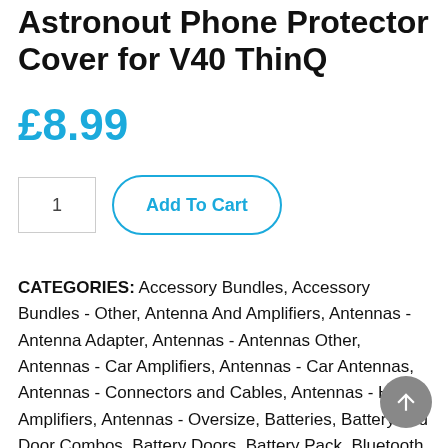Astronout Phone Protector Cover for V40 ThinQ
£8.99
1  Add To Cart
CATEGORIES: Accessory Bundles, Accessory Bundles - Other, Antenna And Amplifiers, Antennas - Antenna Adapter, Antennas - Antennas Other, Antennas - Car Amplifiers, Antennas - Car Antennas, Antennas - Connectors and Cables, Antennas - Home Amplifiers, Antennas - Oversize, Batteries, Battery and Door Combos, Battery Doors, Battery Pack, Bluetooth, Bluetooth - Dongles, Bluetooth - Headsets, Bluetooth - Keyboards, Bluetooth - Other, Bluetooth - Speakers, Cables - Adapters & Splitters, Camera - Accessories, Camera And ...